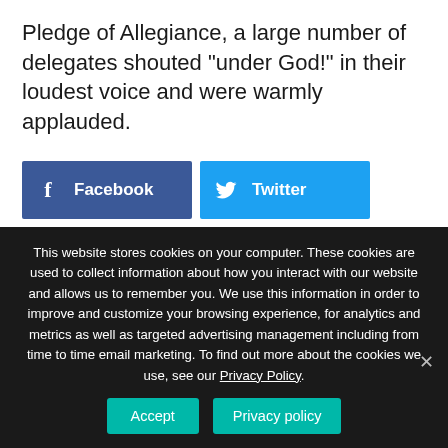Pledge of Allegiance, a large number of delegates shouted "under God!" in their loudest voice and were warmly applauded.
[Figure (infographic): Social share buttons: Facebook (dark blue), Twitter (light blue), LinkedIn (dark blue), Print Friendly (green)]
Filed Under: Education, Family, Phyllis Schlafly Report
This website stores cookies on your computer. These cookies are used to collect information about how you interact with our website and allows us to remember you. We use this information in order to improve and customize your browsing experience, for analytics and metrics as well as targeted advertising management including from time to time email marketing. To find out more about the cookies we use, see our Privacy Policy.